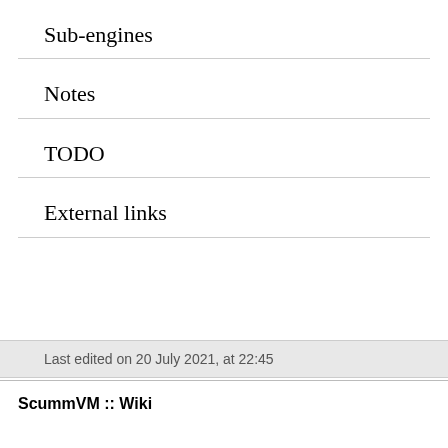Sub-engines
Notes
TODO
External links
Last edited on 20 July 2021, at 22:45
ScummVM :: Wiki